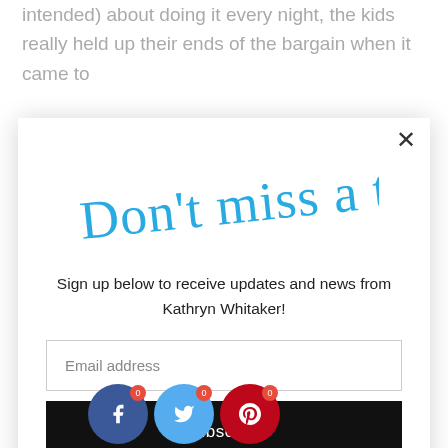intended) about doing it every night, the kids really held up their ends of the bargain when it came to
[Figure (screenshot): Modal popup overlay with 'Don't miss a thing!' script logo in blue, a sign-up text, email address input field, and a Subscribe button on a white background with a close (X) button in the top right corner.]
Sign up below to receive updates and news from Kathryn Whitaker!
Email address
Subscribe
understanding. The emailed reflections were nice, but I'm not sure I'd d t a
[Figure (other): Social share buttons: Facebook (blue circle), Twitter (light blue circle), Pinterest (red circle), each with a small badge showing '0'.]